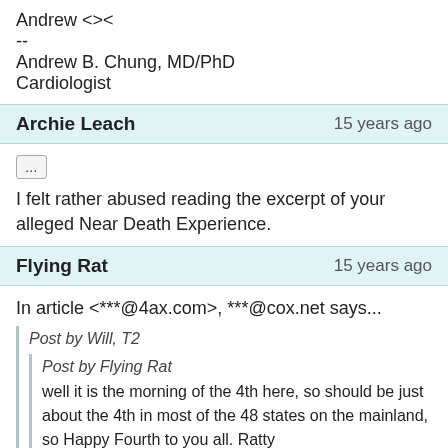Andrew <><
--
Andrew B. Chung, MD/PhD
Cardiologist
Archie Leach   15 years ago
I felt rather abused reading the excerpt of your alleged Near Death Experience.
Flying Rat   15 years ago
In article <***@4ax.com>, ***@cox.net says...
Post by Will, T2
Post by Flying Rat
well it is the morning of the 4th here, so should be just about the 4th in most of the 48 states on the mainland, so Happy Fourth to you all.
Ratty
I wish everyone a happy Fourth, Ratty, and especially you Brits. If it